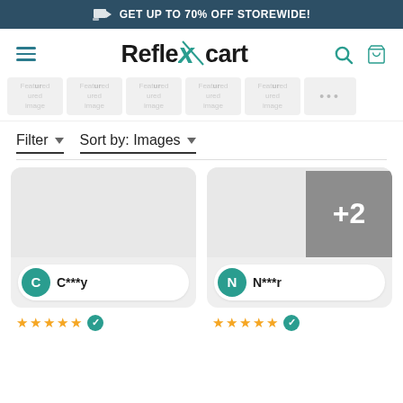GET UP TO 70% OFF STOREWIDE!
[Figure (logo): ReflexCart logo with teal X and cart/search icons]
[Figure (screenshot): Category thumbnails strip showing featured/ured/image placeholders and more button]
Filter ▼   Sort by: Images ▼
[Figure (screenshot): Product card left: user avatar C with label C***y]
[Figure (screenshot): Product card right: user avatar N with label N***r and +2 overlay]
[Figure (screenshot): Star ratings row for both product cards with verified badge]